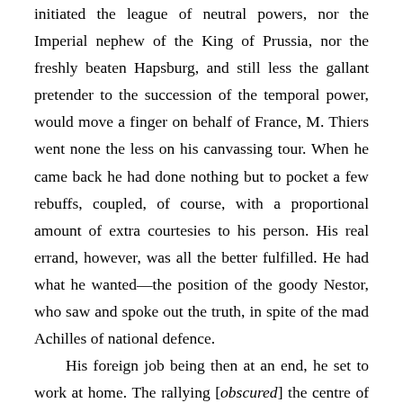initiated the league of neutral powers, nor the Imperial nephew of the King of Prussia, nor the freshly beaten Hapsburg, and still less the gallant pretender to the succession of the temporal power, would move a finger on behalf of France, M. Thiers went none the less on his canvassing tour. When he came back he had done nothing but to pocket a few rebuffs, coupled, of course, with a proportional amount of extra courtesies to his person. His real errand, however, was all the better fulfilled. He had what he wanted—the position of the goody Nestor, who saw and spoke out the truth, in spite of the mad Achilles of national defence.
His foreign job being then at an end, he set to work at home. The rallying [obscured] the centre of the opposition at Tours and Bordeaux, he sent all over France the pass-